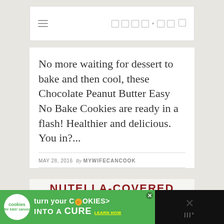≡  □ □ □ □ , □ □  □
No more waiting for dessert to bake and then cool, these Chocolate Peanut Butter Easy No Bake Cookies are ready in a flash! Healthier and delicious. You in?...
MAY 28, 2016  By MYWIFECANCOOK
[Figure (other): Nutella-Covered Cheesecake-Filled advertisement image with red banner]
[Figure (other): Cookies for Kids Cancer advertisement banner: turn your COOKIES into a CURE LEARN HOW]